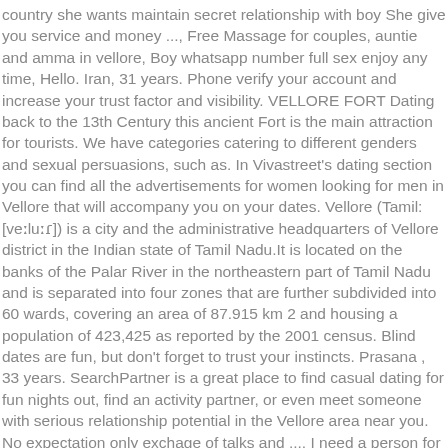country she wants maintain secret relationship with boy She give you service and money ..., Free Massage for couples, auntie and amma in vellore, Boy whatsapp number full sex enjoy any time, Hello. Iran, 31 years. Phone verify your account and increase your trust factor and visibility. VELLORE FORT Dating back to the 13th Century this ancient Fort is the main attraction for tourists. We have categories catering to different genders and sexual persuasions, such as. In Vivastreet's dating section you can find all the advertisements for women looking for men in Vellore that will accompany you on your dates. Vellore (Tamil: [veːluːɾ]) is a city and the administrative headquarters of Vellore district in the Indian state of Tamil Nadu.It is located on the banks of the Palar River in the northeastern part of Tamil Nadu and is separated into four zones that are further subdivided into 60 wards, covering an area of 87.915 km 2 and housing a population of 423,425 as reported by the 2001 census. Blind dates are fun, but don't forget to trust your instincts. Prasana , 33 years. SearchPartner is a great place to find casual dating for fun nights out, find an activity partner, or even meet someone with serious relationship potential in the Vellore area near you. No expectation only exchage of talks and ..., I need a person for me to understand me and to have a relationship for a long term, ARUN :